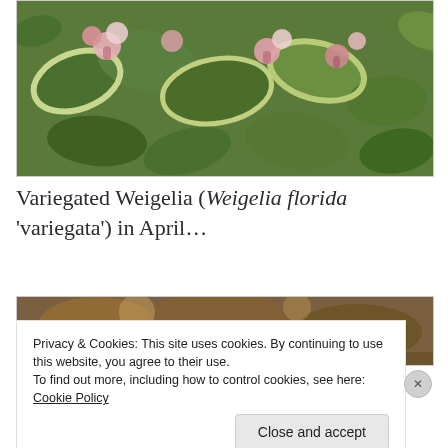[Figure (photo): Photograph of Variegated Weigelia shrub with pink and white flowers and green/cream variegated leaves]
Variegated Weigelia (Weigelia florida 'variegata') in April...
[Figure (photo): Partial photograph of another plant, partially obscured by cookie banner]
Privacy & Cookies: This site uses cookies. By continuing to use this website, you agree to their use.
To find out more, including how to control cookies, see here: Cookie Policy
Close and accept